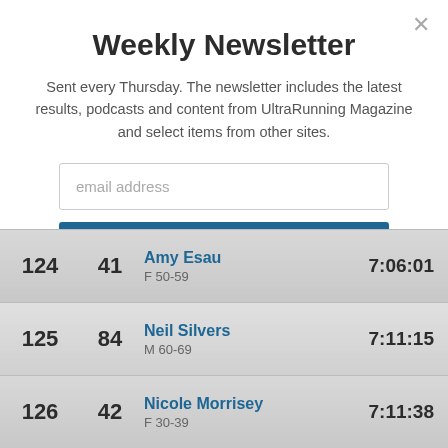Weekly Newsletter
Sent every Thursday. The newsletter includes the latest results, podcasts and content from UltraRunning Magazine and select items from other sites.
| Rank | Bib | Name / Category | Time |
| --- | --- | --- | --- |
| 124 | 41 | Amy Esau
F 50-59 | 7:06:01 |
| 125 | 84 | Neil Silvers
M 60-69 | 7:11:15 |
| 126 | 42 | Nicole Morrisey
F 30-39 | 7:11:38 |